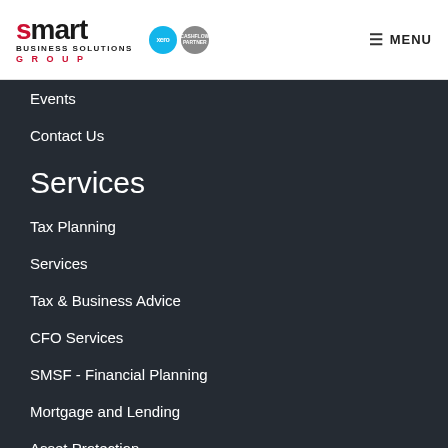[Figure (logo): Smart Business Solutions Group logo with Xero partner badges]
Events
Contact Us
Services
Tax Planning
Services
Tax & Business Advice
CFO Services
SMSF - Financial Planning
Mortgage and Lending
Asset Protection